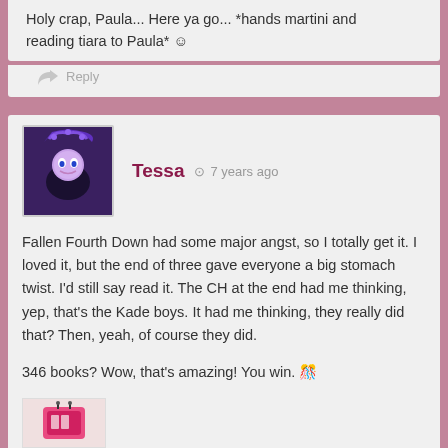Holy crap, Paula... Here ya go... *hands martini and reading tiara to Paula* ☺
Reply
Tessa · 7 years ago
Fallen Fourth Down had some major angst, so I totally get it. I loved it, but the end of three gave everyone a big stomach twist. I'd still say read it. The CH at the end had me thinking, yep, that's the Kade boys. It had me thinking, they really did that? Then, yeah, of course they did.
346 books? Wow, that's amazing! You win. 🎉
Reply